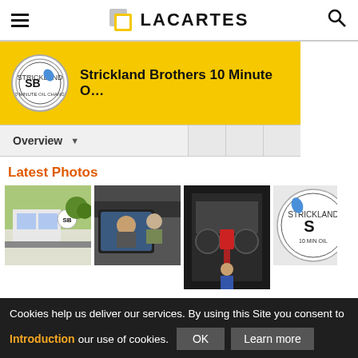LACARTES
[Figure (screenshot): Yellow banner with Strickland Brothers 10 Minute Oil Change logo and truncated business name]
Overview
Latest Photos
[Figure (photo): Four thumbnail photos of Strickland Brothers 10 Minute Oil Change locations and service]
Cookies help us deliver our services. By using this Site you consent to our use of cookies.
Introduction
OK
Learn more